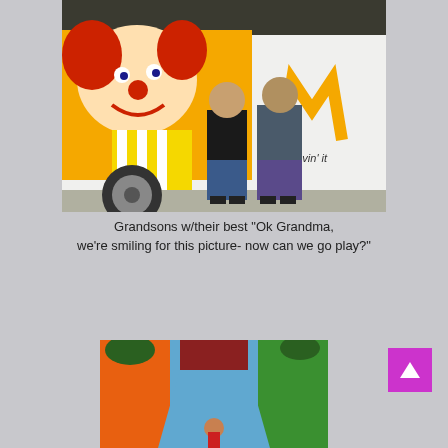[Figure (photo): Two boys standing in front of a McDonald's branded van featuring Ronald McDonald graphics and the 'i'm lovin' it' slogan]
Grandsons w/their best "Ok Grandma, we're smiling for this picture- now can we go play?"
[Figure (photo): Interior view looking up the slide of a colorful bounce house / inflatable slide structure with orange, green, and blue colors; a child is visible at the bottom]